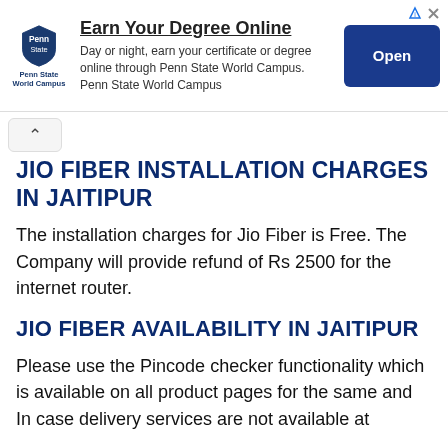[Figure (other): Penn State World Campus advertisement banner with logo, text 'Earn Your Degree Online', description about earning certificate or degree online, and an Open button]
JIO FIBER INSTALLATION CHARGES IN JAITIPUR
The installation charges for Jio Fiber is Free. The Company will provide refund of Rs 2500 for the internet router.
JIO FIBER AVAILABILITY IN JAITIPUR
Please use the Pincode checker functionality which is available on all product pages for the same and In case delivery services are not available at